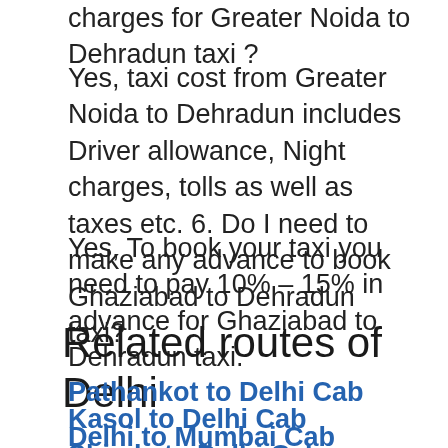charges for Greater Noida to Dehradun taxi ?
Yes, taxi cost from Greater Noida to Dehradun includes Driver allowance, Night charges, tolls as well as taxes etc. 6. Do I need to make any advance to book Ghaziabad to Dehradun taxi?
Yes, To book your taxi you need to pay 10% – 15% in advance for Ghaziabad to Dehradun taxi.
Related routes of Delhi
Pathankot to Delhi Cab
Kasol to Delhi Cab
Delhi to Mumbai Cab
Shimla to Delhi Cab